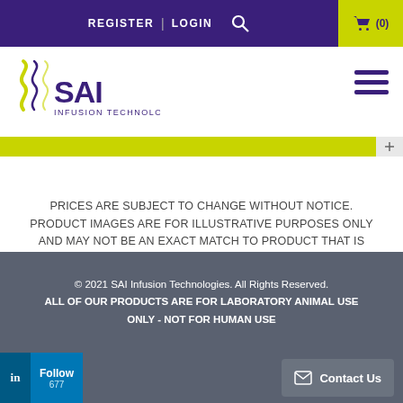REGISTER | LOGIN  🔍  🛒 (0)
[Figure (logo): SAI Infusion Technologies logo with stylized snake/helix graphic and yellow accent, purple text]
PRICES ARE SUBJECT TO CHANGE WITHOUT NOTICE. PRODUCT IMAGES ARE FOR ILLUSTRATIVE PURPOSES ONLY AND MAY NOT BE AN EXACT MATCH TO PRODUCT THAT IS RECEIVED.
[Figure (infographic): MasterCard and VISA payment icons side by side]
© 2021 SAI Infusion Technologies. All Rights Reserved.
ALL OF OUR PRODUCTS ARE FOR LABORATORY ANIMAL USE ONLY - NOT FOR HUMAN USE
in | Follow
677
✉ Contact Us